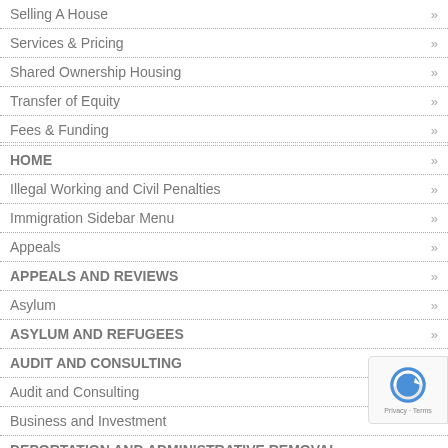Selling A House »
Services & Pricing »
Shared Ownership Housing »
Transfer of Equity »
Fees & Funding »
HOME »
Illegal Working and Civil Penalties »
Immigration Sidebar Menu »
Appeals »
APPEALS AND REVIEWS »
Asylum »
ASYLUM AND REFUGEES »
AUDIT AND CONSULTING »
Audit and Consulting »
Business and Investment »
DEPORTATION AND ADMINISTRATIVE REMOVAL »
DETENTION AND BAIL »
[Figure (logo): reCAPTCHA badge with Privacy and Terms links]